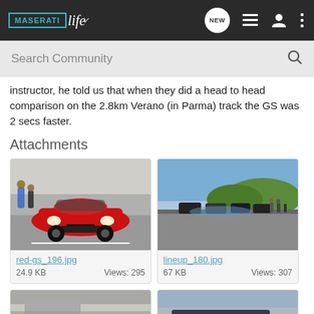MASERATIlife — NEW | list | user | menu
instructor, he told us that when they did a head to head comparison on the 2.8km Verano (in Parma) track the GS was 2 secs faster.
Attachments
[Figure (photo): Red Maserati GS sports car viewed from the front, on a race track, with people in background]
red-gs_196.jpg
24.9 KB   Views: 295
[Figure (photo): Lineup of dark-colored cars on a race track, trees and hills visible in background]
lineup_180.jpg
67 KB   Views: 307
[Figure (photo): Partial view of a building or covered area at a race track]
[Figure (photo): Partial view of a dark car on a race track]